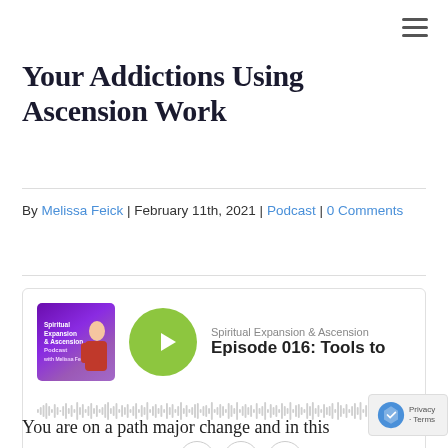Your Addictions Using Ascension Work
By Melissa Feick | February 11th, 2021 | Podcast | 0 Comments
[Figure (screenshot): Podcast player widget showing Spiritual Expansion & Ascension podcast, Episode 016: Tools to, with play button, waveform, time 00:00:00 | 01:02:46, playback controls]
You are on a path major change and in this